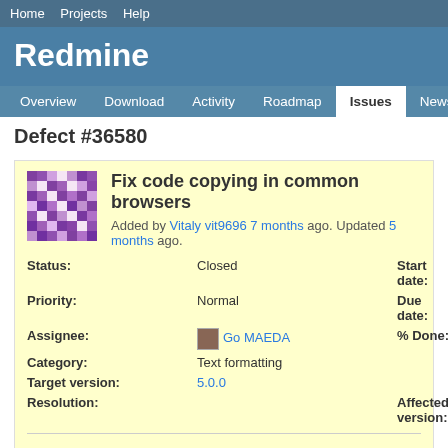Home  Projects  Help
Redmine
Overview  Download  Activity  Roadmap  Issues  News  W…
Defect #36580
Fix code copying in common browsers
Added by Vitaly vit9696 7 months ago. Updated 5 months ago.
| Field | Value | Field2 |
| --- | --- | --- |
| Status: | Closed | Start date: |
| Priority: | Normal | Due date: |
| Assignee: | Go MAEDA | % Done: |
| Category: | Text formatting |  |
| Target version: | 5.0.0 |  |
| Resolution: |  | Affected version: |
Description
This patch resolves https://www.redmine.org/issues/3382 for:
Chrome-based browsers (empty lines do not get copied).
Safari (line numbers are inserted to the copied code, empty lines do not before each line).